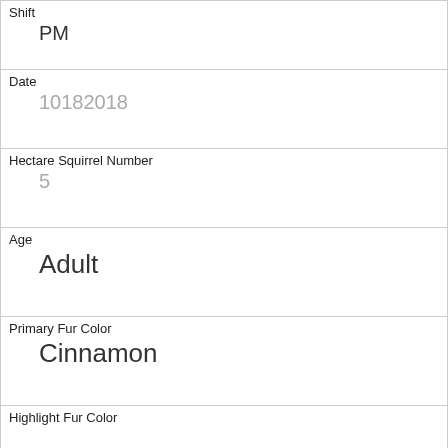| Shift | PM |
| Date | 10182018 |
| Hectare Squirrel Number | 5 |
| Age | Adult |
| Primary Fur Color | Cinnamon |
| Highlight Fur Color |  |
| Combination of Primary and Highlight Color | Cinnamon+ |
| Color notes |  |
| Location | Ground Plane |
| Above Ground Sighter Measurement | FALSE |
| Specific Location |  |